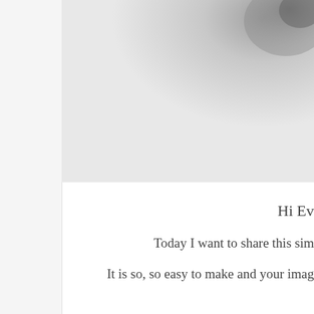[Figure (photo): Grayscale photo showing a light gray blurred background, cropped at the top of the page. The image occupies the upper right portion of the page.]
Hi Ev
Today I want to share this sim
It is so, so easy to make and your imag